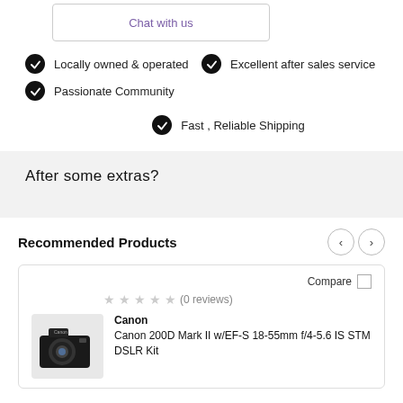Chat with us
Locally owned & operated
Excellent after sales service
Passionate Community
Fast , Reliable Shipping
After some extras?
Recommended Products
Compare
★★★★★ (0 reviews)
Canon
Canon 200D Mark II w/EF-S 18-55mm f/4-5.6 IS STM DSLR Kit